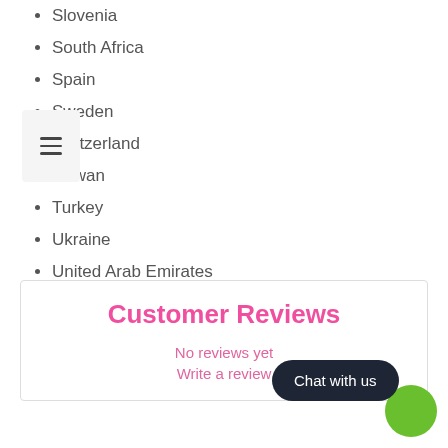Slovenia
South Africa
Spain
Sweden
Switzerland
Taiwan
Turkey
Ukraine
United Arab Emirates
Venezuela
Gibraltar
Customer Reviews
No reviews yet
Write a review